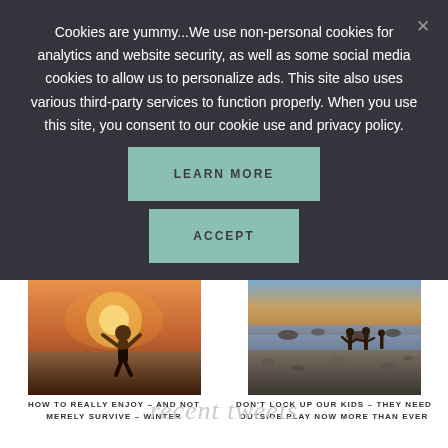Cookies are yummy...We use non-personal cookies for analytics and website security, as well as some social media cookies to allow us to personalize ads. This site also uses various third-party services to function properly. When you use this site, you consent to our cookie use and privacy policy.
LEARN MORE
ACCEPT
[Figure (photo): Person standing at a beach with sunlight in background, silhouette with warm golden tones]
HOW TO REALLY ENJOY – AND NOT MERELY SURVIVE – WINTER
[Figure (photo): Children playing on a rocky shore near water at dusk/sunset]
DON'T LOCK UP OUR KIDS – THEY NEED OUTSIDE PLAY NOW MORE THAN EVER
recent tweets